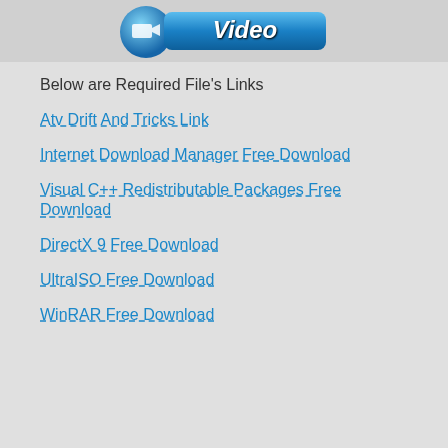[Figure (screenshot): Video button with blue gradient and 'Video' text with camera icon]
Below are Required File's Links
Atv Drift And Tricks Link
Internet Download Manager Free Download
Visual C++ Redistributable Packages Free Download
DirectX 9 Free Download
UltraISO Free Download
WinRAR Free Download